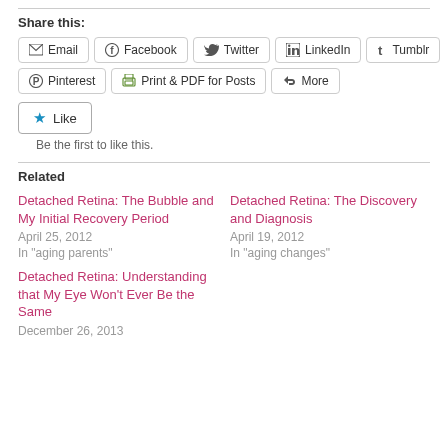Share this:
[Figure (screenshot): Social sharing buttons: Email, Facebook, Twitter, LinkedIn, Tumblr, Pinterest, Print & PDF for Posts, More]
[Figure (screenshot): Like button with star icon and text 'Be the first to like this.']
Related
Detached Retina: The Bubble and My Initial Recovery Period
April 25, 2012
In "aging parents"
Detached Retina: The Discovery and Diagnosis
April 19, 2012
In "aging changes"
Detached Retina: Understanding that My Eye Won't Ever Be the Same
December 26, 2013